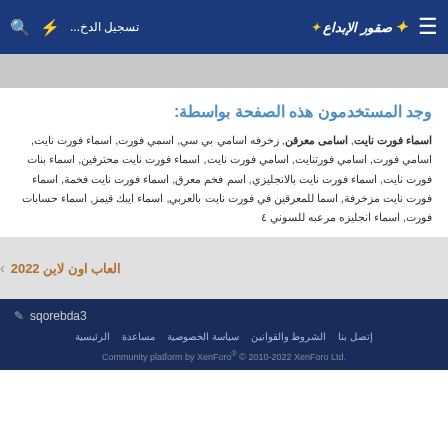صقور الإبداع - تسجيل الدخ... - header navigation bar
وجد المستخدمون هذه الصفحة بواسطة:
اسماء فورت نايت, اسامى معرقن, زخرفه اسامي بي سي, اسمي فورت, اسماء فورت نايت, اسامي فورت, اسامي فورتنايت, اسامي فورت نايت, اسماء فورت نايت محترفين, اسماء بنات فورت نايت, اسماء فورت نايت بالانجليزي, اسم فخم معرق, اسماء فورت نايت فخمة, اسماء فورت نايت مزخرفة, اسما للمعرقين في فورت نايت بالعربي, اسماء ايبك قيمز, اسماء حسابات فورت, اسماء انجليزه مرعبه للسوني ٤
العاب اون لاين 2022
sqorebda3 | إتصل بنا | الشروط والقوانين | سياسة الخصوصية | مساعدة | الرئيسية | Community platform by XenForo® © 2010-2022 XenForo Ltd.